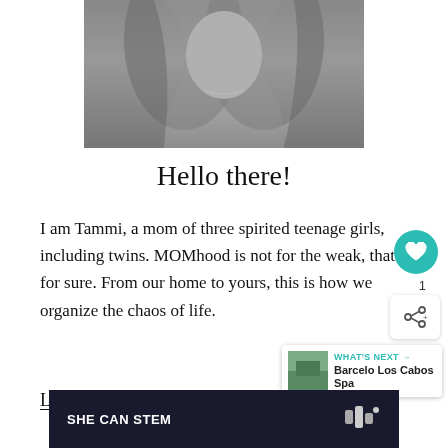[Figure (photo): Black and white photo of a woman with long flowing hair, cropped from shoulders up]
Hello there!
I am Tammi, a mom of three spirited teenage girls, including twins. MOMhood is not for the weak, that's for sure. From our home to yours, this is how we organize the chaos of life.
Learn more about us.
SHE CAN STEM